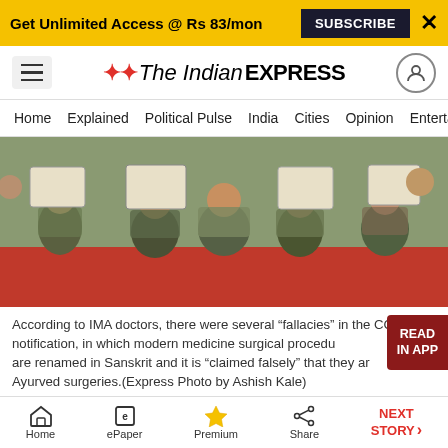Get Unlimited Access @ Rs 83/mon  SUBSCRIBE  X
The Indian EXPRESS — Home  Explained  Political Pulse  India  Cities  Opinion  Entertainment
[Figure (photo): Group of people sitting cross-legged on a red surface, holding placards/certificates, appearing to be at a protest or demonstration. IMA doctors protest photo. Express Photo by Ashish Kale.]
According to IMA doctors, there were several "fallacies" in the CCIM notification, in which modern medicine surgical procedures are renamed in Sanskrit and it is "claimed falsely" that they are original Ayurved surgeries.(Express Photo by Ashish Kale)
The IMA is protesting the Central Council of Indian
Home  ePaper  Premium  Share  NEXT STORY